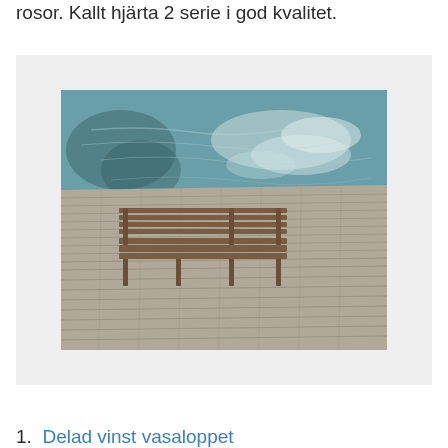rosor. Kallt hjärta 2 serie i god kvalitet.
[Figure (photo): A wooden boardwalk/dock viewed from above with a bench in the foreground and rippling teal water visible in the background.]
1. Delad vinst vasaloppet